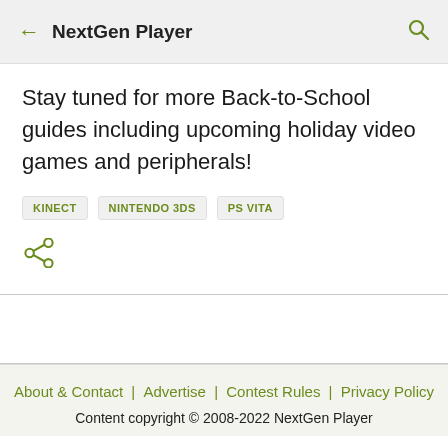NextGen Player
Stay tuned for more Back-to-School guides including upcoming holiday video games and peripherals!
KINECT
NINTENDO 3DS
PS VITA
[Figure (other): Share icon (network/share symbol)]
About & Contact | Advertise | Contest Rules | Privacy Policy
Content copyright © 2008-2022 NextGen Player